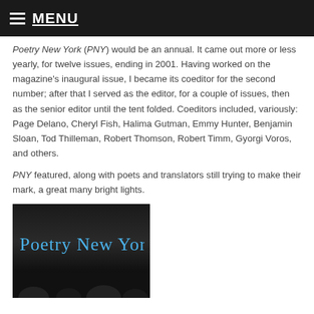MENU
Poetry New York (PNY) would be an annual. It came out more or less yearly, for twelve issues, ending in 2001. Having worked on the magazine's inaugural issue, I became its coeditor for the second number; after that I served as the editor, for a couple of issues, then as the senior editor until the tent folded. Coeditors included, variously: Page Delano, Cheryl Fish, Halima Gutman, Emmy Hunter, Benjamin Sloan, Tod Thilleman, Robert Thomson, Robert Timm, Gyorgi Voros, and others.
PNY featured, along with poets and translators still trying to make their mark, a great many bright lights.
[Figure (photo): Black and white photo with blue handwritten text reading 'Poetry New York' on a dark background with partial figures visible at the bottom]